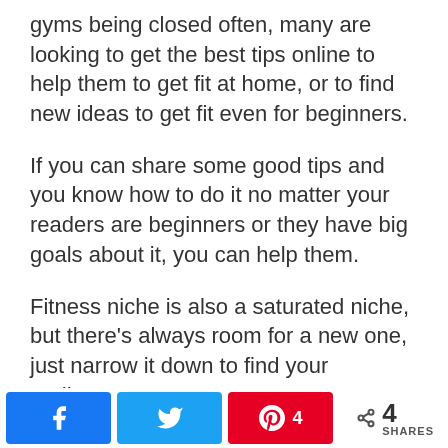gyms being closed often, many are looking to get the best tips online to help them to get fit at home, or to find new ideas to get fit even for beginners.
If you can share some good tips and you know how to do it no matter your readers are beginners or they have big goals about it, you can help them.
Fitness niche is also a saturated niche, but there’s always room for a new one, just narrow it down to find your audience.
Fitness for beginners